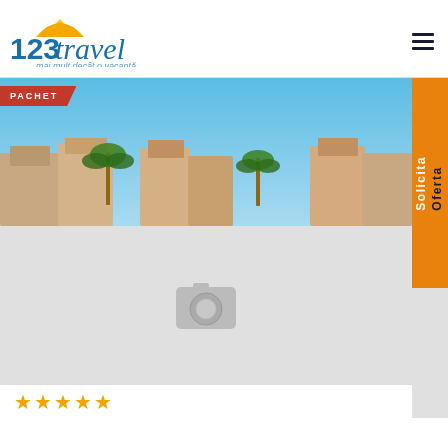[Figure (logo): 123travel logo with sun graphic and tagline 'mai mult decât o vacanță']
[Figure (photo): Hotel resort with palm trees under blue sky, PACHET badge top-left, Solicita Oferta tab on right side, camera placeholder icon in center]
★★★★★